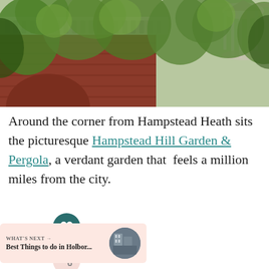[Figure (photo): Photograph of Hampstead Hill Garden and Pergola showing a red brick building with white balustrade, a decorative gazebo structure, and lush green trees in the background]
Around the corner from Hampstead Heath sits the picturesque Hampstead Hill Garden & Pergola, a verdant garden that feels a million miles from the city.
[Figure (other): Heart/save button (dark teal circular button with white heart icon) and share button (salmon circular button with share icon)]
WHAT'S NEXT → Best Things to do in Holbor...